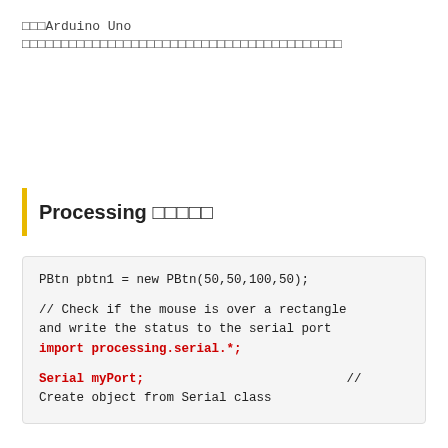···Arduino Uno ·····································
Processing ·····
PBtn pbtn1 = new PBtn(50,50,100,50);

// Check if the mouse is over a rectangle
and write the status to the serial port
import processing.serial.*;

Serial myPort;                           //
Create object from Serial class